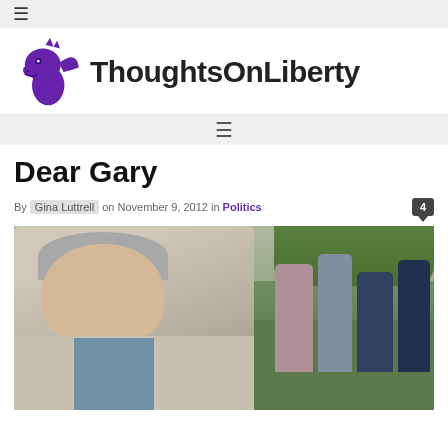≡
[Figure (logo): ThoughtsOnLiberty logo: purple dragon head followed by site name 'ThoughtsOnLiberty' in bold black text]
≡ (navigation menu icon)
Dear Gary
By Gina Luttrell on November 9, 2012 in Politics  4
[Figure (photo): Outdoor photo of a middle-aged man with grey hair wearing a light grey blazer and blue shirt, speaking to a group of people on a grassy campus area with trees in background]